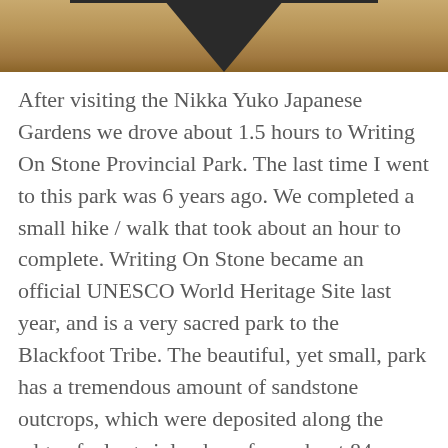[Figure (photo): Partial view of a wooden structure or architectural element with dark triangular framing against a warm tan/wood background, cropped at top of page.]
After visiting the Nikka Yuko Japanese Gardens we drove about 1.5 hours to Writing On Stone Provincial Park. The last time I went to this park was 6 years ago. We completed a small hike / walk that took about an hour to complete. Writing On Stone became an official UNESCO World Heritage Site last year, and is a very sacred park to the Blackfoot Tribe. The beautiful, yet small, park has a tremendous amount of sandstone outcrops, which were deposited along the edge of a large inland sea from about 84 million years ago during the Late Cretaceous period.